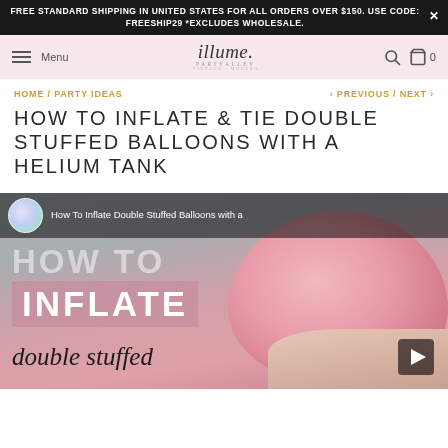FREE STANDARD SHIPPING IN UNITED STATES FOR ALL ORDERS OVER $150. USE CODE: FREESHIP29 *EXCLUDES WHOLESALE.
Menu | illume | Search | Cart 0
HOME / PARTY IDEAS    < PREVIOUS / NEXT >
HOW TO INFLATE & TIE DOUBLE STUFFED BALLOONS WITH A HELIUM TANK
[Figure (screenshot): YouTube video thumbnail showing text 'How To Inflate Double Stuffed Balloons with a' with HOW TO and INFLATE text overlaid, a pink balloon in background, and hands holding a balloon at bottom right. Play button visible.]